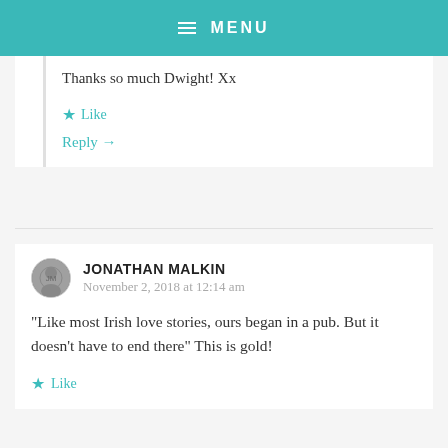MENU
Thanks so much Dwight! Xx
Like
Reply →
JONATHAN MALKIN
November 2, 2018 at 12:14 am
“Like most Irish love stories, ours began in a pub. But it doesn’t have to end there” This is gold!
Like